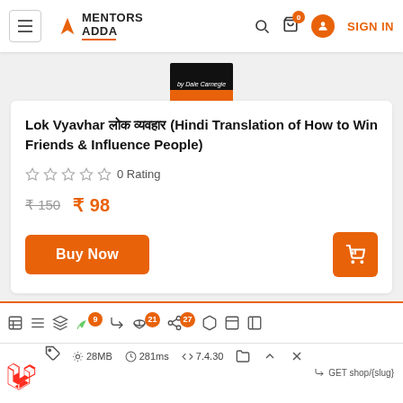MENTORS ADDA — navigation header with hamburger menu, search, cart (0), sign in
[Figure (photo): Partial book cover thumbnail showing dark top and orange bottom strip]
Lok Vyavhar लोक व्यवहार (Hindi Translation of How to Win Friends & Influence People)
☆☆☆☆☆ 0 Rating
₹150  ₹ 98
Buy Now
Debug bar: 9, 21, 27 | 28MB | 281ms | 7.4.30 | GET shop/{slug}